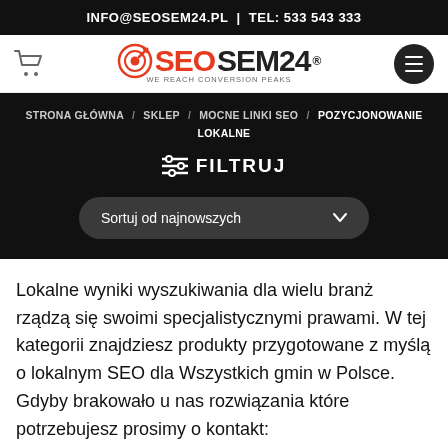INFO@SEOSEM24.PL  |  TEL: 533 543 333
[Figure (logo): SEOSEM24 logo with target/dart icon and tagline WE REACH CONVERSION PEAKS]
STRONA GŁÓWNA / SKLEP / MOCNE LINKI SEO / POZYCJONOWANIE LOKALNE
FILTRUJ
Sortuj od najnowszych
Lokalne wyniki wyszukiwania dla wielu branż rządzą się swoimi specjalistycznymi prawami. W tej kategorii znajdziesz produkty przygotowane z myślą o lokalnym SEO dla Wszystkich gmin w Polsce. Gdyby brakowało u nas rozwiązania które potrzebujesz prosimy o kontakt: